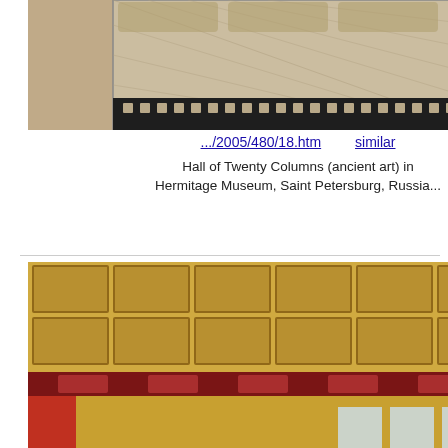[Figure (photo): Top portion of a mosaic floor with Greek key border pattern, Hall of Twenty Columns, Hermitage Museum]
.../2005/480/18.htm    similar
Hall of Twenty Columns (ancient art) in Hermitage Museum. Saint Petersburg, Russia,
[Figure (photo): The Majolica Room with ornate golden ceiling, columns and visitors, Hermitage Museum, Saint Petersburg, Russia]
.../2005/459/04.htm    similar
The Majolica Room (Renaissance art) in Hermitage Museum. Saint Petersburg, Russia, July 22, 2005
[Figure (photo): Bottom partial view of a green lattice/grid ceiling, Hermitage Museum]